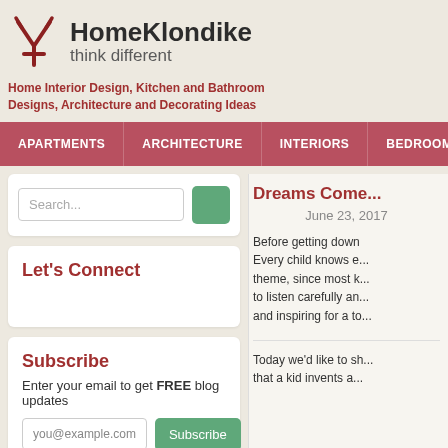HomeKlondike think different
Home Interior Design, Kitchen and Bathroom Designs, Architecture and Decorating Ideas
APARTMENTS | ARCHITECTURE | INTERIORS | BEDROOM | BA...
Search...
Let's Connect
Subscribe
Enter your email to get FREE blog updates
you@example.com
Dreams Come...
June 23, 2017
Before getting down... Every child knows e... theme, since most k... to listen carefully an... and inspiring for a to...
Today we'd like to sh... that a kid invents a...